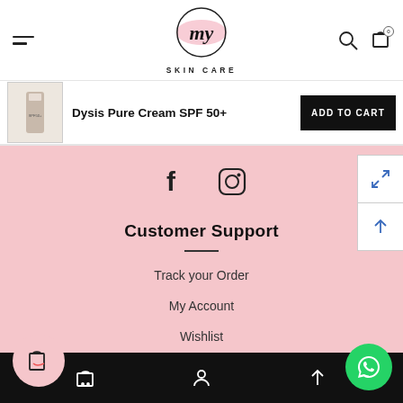[Figure (logo): My Skin Care logo — cursive 'my' in a circle with pink brushstroke, text SKIN CARE below]
Dysis Pure Cream SPF 50+
ADD TO CART
[Figure (infographic): Social media icons: Facebook (f) and Instagram (camera) on pink background]
Customer Support
Track your Order
My Account
Wishlist